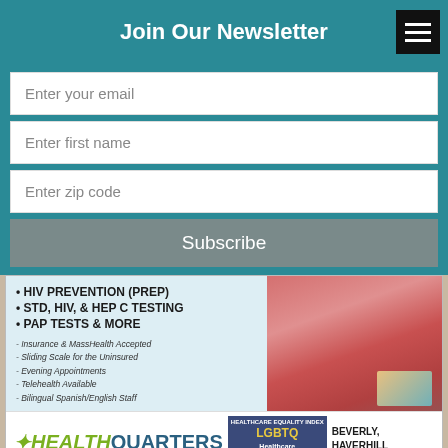Join Our Newsletter
Enter your email
Enter first name
Enter zip code
Subscribe
[Figure (infographic): HealthQuarters advertisement showing HIV PREVENTION (PREP), STD, HIV & HEP C TESTING, PAP TESTS & MORE services, with LGBTQ Healthcare Equality Leader badge and Beverly, Haverhill & Lawrence locations]
FOLLOW ON FACEBOOK